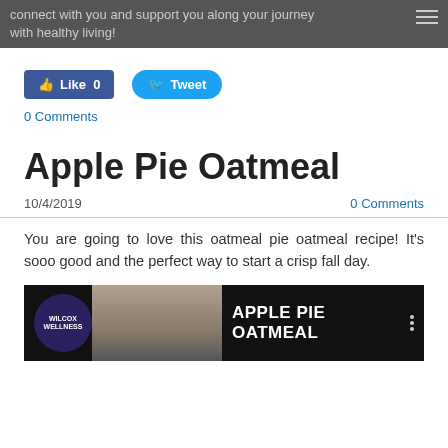connect with you and support you along your journey with healthy living!
[Figure (screenshot): Facebook Like button showing Like 0 and Twitter Tweet button]
0 Comments
Apple Pie Oatmeal
10/4/2019
0 Comments
You are going to love this oatmeal pie oatmeal recipe! It's sooo good and the perfect way to start a crisp fall day.
[Figure (screenshot): Video thumbnail showing Wilcox Wellness logo and person's face with text APPLE PIE OATMEAL]